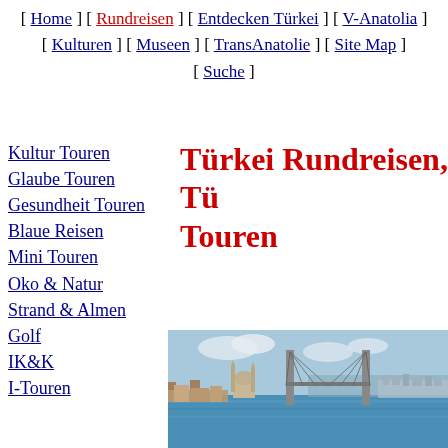[ Home ] [ Rundreisen ] [ Entdecken Türkei ] [ V-Anatolia ] [ Kulturen ] [ Museen ] [ TransAnatolie ] [ Site Map ] [ Suche ]
Kultur Touren
Glaube Touren
Gesundheit Touren
Blaue Reisen
Mini Touren
Oko & Natur
Strand & Almen
Golf
IK&K
I-Touren
Türkei Rundreisen, Türkei Touren
[Figure (photo): Panoramic view of Istanbul showing the Bosphorus Bridge, a mosque, and the cityscape with water in the foreground]